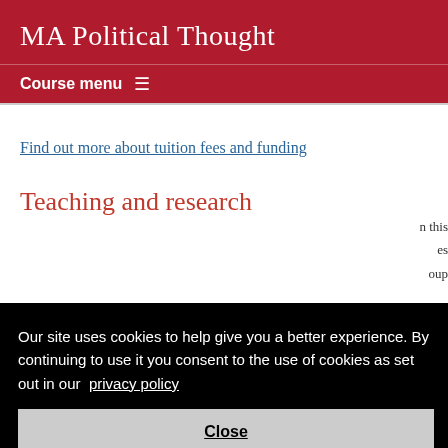MA Political Thought
Course menu ≡
Find out more about tuition fees and funding
Teaching and research
Our site uses cookies to help give you a better experience. By continuing to use it you consent to the use of cookies as set out in our privacy policy
Close
You will have an individual supervisor for your dissertation,